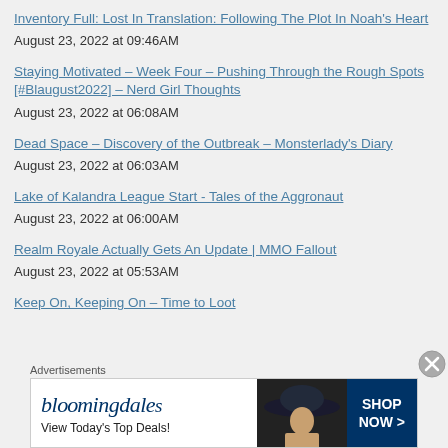Inventory Full: Lost In Translation: Following The Plot In Noah's Heart
August 23, 2022 at 09:46AM
Staying Motivated – Week Four – Pushing Through the Rough Spots [#Blaugust2022] – Nerd Girl Thoughts
August 23, 2022 at 06:08AM
Dead Space – Discovery of the Outbreak – Monsterlady's Diary
August 23, 2022 at 06:03AM
Lake of Kalandra League Start - Tales of the Aggronaut
August 23, 2022 at 06:00AM
Realm Royale Actually Gets An Update | MMO Fallout
August 23, 2022 at 05:53AM
Keep On, Keeping On – Time to Loot
Advertisements
[Figure (other): Bloomingdale's advertisement banner: 'View Today's Top Deals!' with SHOP NOW > button and woman in wide-brim hat]